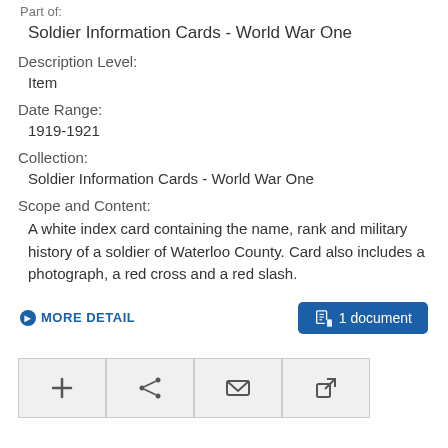Part of:
Soldier Information Cards - World War One
Description Level:
Item
Date Range:
1919-1921
Collection:
Soldier Information Cards - World War One
Scope and Content:
A white index card containing the name, rank and military history of a soldier of Waterloo County. Card also includes a photograph, a red cross and a red slash.
MORE DETAIL
1 document
[Figure (other): Four icon buttons: add (+), share, email (envelope), and external link]